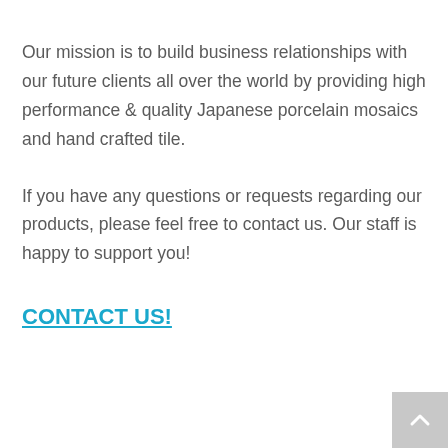Our mission is to build business relationships with our future clients all over the world by providing high performance & quality Japanese porcelain mosaics and hand crafted tile.
If you have any questions or requests regarding our products, please feel free to contact us. Our staff is happy to support you!
CONTACT US!